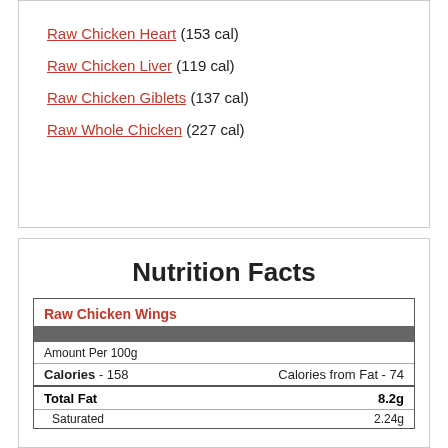Raw Chicken Heart (153 cal)
Raw Chicken Liver (119 cal)
Raw Chicken Giblets (137 cal)
Raw Whole Chicken (227 cal)
Nutrition Facts
|  |  |
| --- | --- |
| Raw Chicken Wings |  |
| Amount Per 100g |  |
| Calories - 158 | Calories from Fat - 74 |
| Total Fat | 8.2g |
| Saturated | 2.24g |